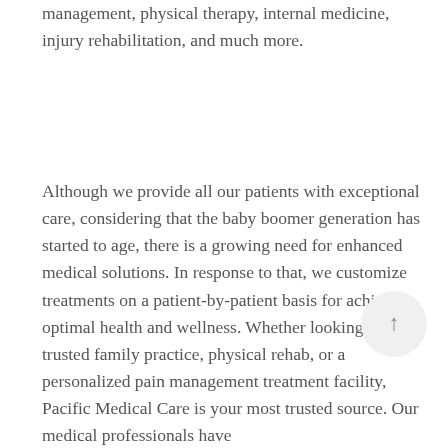management, physical therapy, internal medicine, injury rehabilitation, and much more.
Although we provide all our patients with exceptional care, considering that the baby boomer generation has started to age, there is a growing need for enhanced medical solutions. In response to that, we customize treatments on a patient-by-patient basis for achieving optimal health and wellness. Whether looking for a trusted family practice, physical rehab, or a personalized pain management treatment facility, Pacific Medical Care is your most trusted source. Our medical professionals have